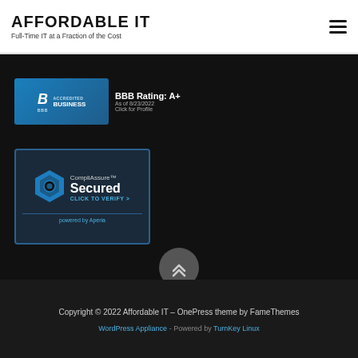AFFORDABLE IT — Full-Time IT at a Fraction of the Cost
[Figure (logo): BBB Accredited Business badge with rating A+ as of 8/23/2022, click for profile]
[Figure (logo): CompliAssure Secured badge — CLICK TO VERIFY > powered by Aperia]
[Figure (other): Scroll-to-top button with chevron arrows icon]
Copyright © 2022 Affordable IT – OnePress theme by FameThemes
WordPress Appliance - Powered by TurnKey Linux